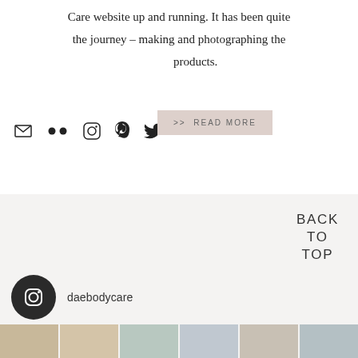Care website up and running. It has been quite the journey – making and photographing the products.
[Figure (infographic): Social media icons: email, Flickr, Instagram, Pinterest, Twitter]
>> READ MORE
SHARE:  f  twitter  pinterest  email  whatsapp
BACK
TO
TOP
[Figure (logo): Instagram circle icon with daebodycare handle]
[Figure (photo): Photo strip of product images at the bottom]